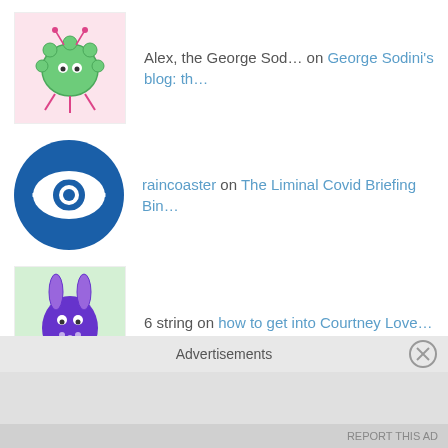Alex, the George Sod… on George Sodini's blog: th…
raincoaster on The Liminal Covid Briefing Bin…
6 string on how to get into Courtney Love…
[Figure (other): A 3x3 grid of cells with black filled circles in certain positions: top-middle, middle-right, bottom-left, bottom-middle, bottom-right]
Blog Stats
Advertisements
REPORT THIS AD